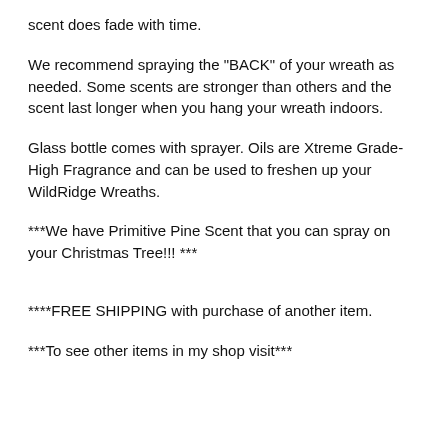scent does fade with time.
We recommend spraying the "BACK" of your wreath as needed. Some scents are stronger than others and the scent last longer when you hang your wreath indoors.
Glass bottle comes with sprayer. Oils are Xtreme Grade- High Fragrance and can be used to freshen up your WildRidge Wreaths.
***We have Primitive Pine Scent that you can spray on your Christmas Tree!!! ***
****FREE SHIPPING with purchase of another item.
***To see other items in my shop visit***